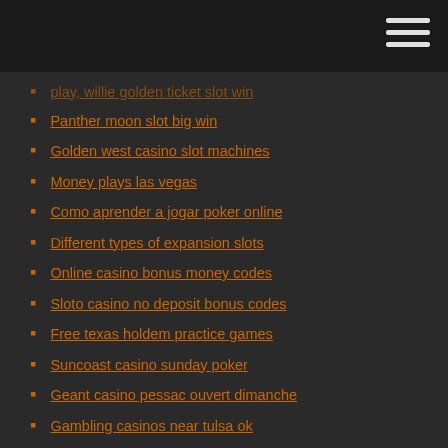Panther moon slot big win
Golden west casino slot machines
Money plays las vegas
Como aprender a jogar poker online
Different types of expansion slots
Online casino bonus money codes
Sloto casino no deposit bonus codes
Free texas holdem practice games
Suncoast casino sunday poker
Geant casino pessac ouvert dimanche
Gambling casinos near tulsa ok
Mohegan sun casino pa poker room
Slot machines at hollywood casino harrisburg
How much is a japanese slot machine worth